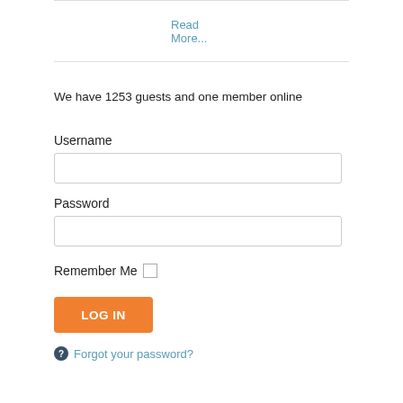Read More...
We have 1253 guests and one member online
Username
Password
Remember Me
LOG IN
Forgot your password?